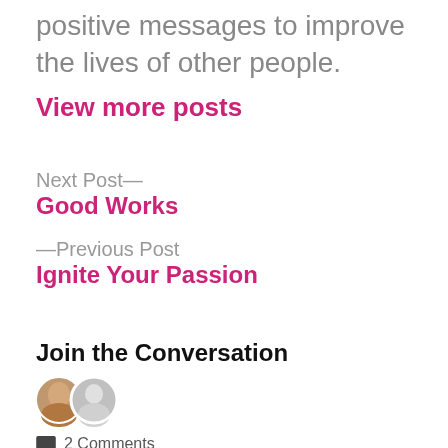positive messages to improve the lives of other people.
View more posts
Next Post—
Good Works
—Previous Post
Ignite Your Passion
Join the Conversation
2 Comments